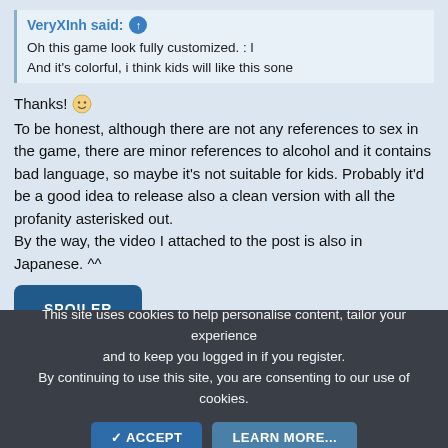VeryXInh said: ↑
Oh this game look fully customized. : l
And it's colorful, i think kids will like this sone
Thanks! 😊
To be honest, although there are not any references to sex in the game, there are minor references to alcohol and it contains bad language, so maybe it's not suitable for kids. Probably it'd be a good idea to release also a clean version with all the profanity asterisked out.
By the way, the video I attached to the post is also in Japanese. ^^
SPOILER
This site uses cookies to help personalise content, tailor your experience and to keep you logged in if you register.
By continuing to use this site, you are consenting to our use of cookies.
✓ ACCEPT
LEARN MORE...